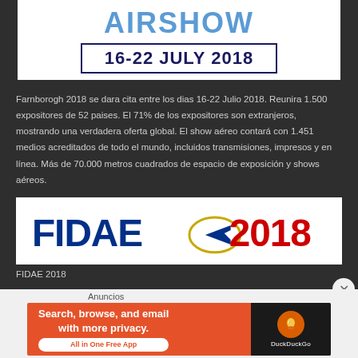[Figure (logo): Farnborough Airshow logo with text 'AIRSHOW' in blue and dates '16-22 JULY 2018' in dark navy border box]
Farnborogh 2018 se dara cita entre los dias 16-22 Julio 2018. Reunira 1.500 expositores de 52 paises. El 71% de los expositores son extranjeros, mostrando una verdadera oferta global. El show aéreo contará con 1.451 medios acreditados de todo el mundo, incluidos transmisiones, impresos y en línea. Más de 70.000 metros cuadrados de espacio de exposición y shows aéreos.
[Figure (logo): FIDAE 2018 logo with blue FIDAE text, arrow and plane graphic, and red 2018 text on white background]
FIDAE 2018
[Figure (other): DuckDuckGo advertisement: Search, browse, and email with more privacy. All in One Free App, on orange background with DuckDuckGo logo on dark background]